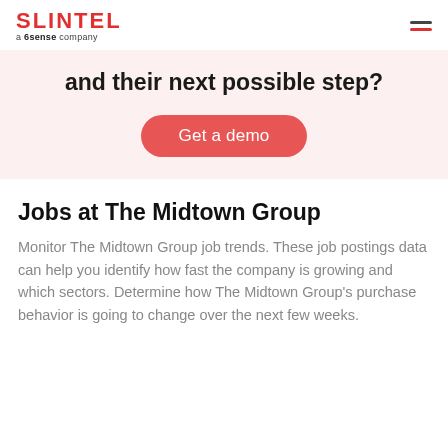SLINTEL a 6sense company
and their next possible step?
[Figure (other): Red rounded button labeled 'Get a demo']
Jobs at The Midtown Group
Monitor The Midtown Group job trends. These job postings data can help you identify how fast the company is growing and which sectors. Determine how The Midtown Group's purchase behavior is going to change over the next few weeks.